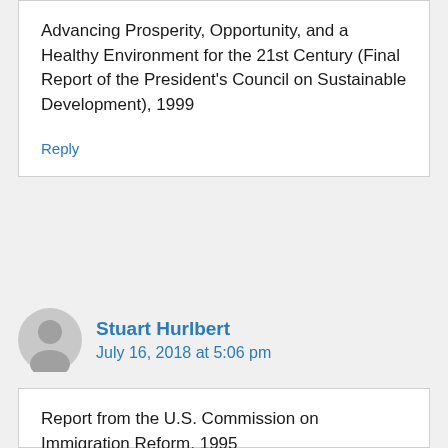Advancing Prosperity, Opportunity, and a Healthy Environment for the 21st Century (Final Report of the President's Council on Sustainable Development), 1999
Reply
Stuart Hurlbert
July 16, 2018 at 5:06 pm
Report from the U.S. Commission on Immigration Reform, 1995